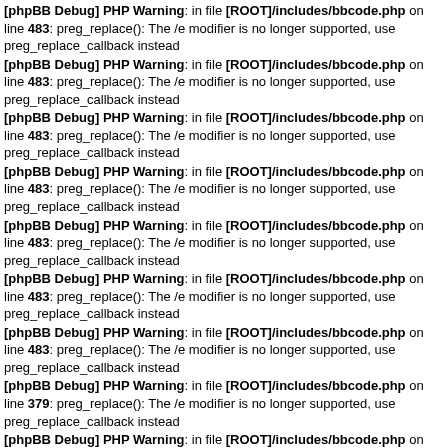[phpBB Debug] PHP Warning: in file [ROOT]/includes/bbcode.php on line 483: preg_replace(): The /e modifier is no longer supported, use preg_replace_callback instead
[phpBB Debug] PHP Warning: in file [ROOT]/includes/bbcode.php on line 483: preg_replace(): The /e modifier is no longer supported, use preg_replace_callback instead
[phpBB Debug] PHP Warning: in file [ROOT]/includes/bbcode.php on line 483: preg_replace(): The /e modifier is no longer supported, use preg_replace_callback instead
[phpBB Debug] PHP Warning: in file [ROOT]/includes/bbcode.php on line 483: preg_replace(): The /e modifier is no longer supported, use preg_replace_callback instead
[phpBB Debug] PHP Warning: in file [ROOT]/includes/bbcode.php on line 483: preg_replace(): The /e modifier is no longer supported, use preg_replace_callback instead
[phpBB Debug] PHP Warning: in file [ROOT]/includes/bbcode.php on line 483: preg_replace(): The /e modifier is no longer supported, use preg_replace_callback instead
[phpBB Debug] PHP Warning: in file [ROOT]/includes/bbcode.php on line 483: preg_replace(): The /e modifier is no longer supported, use preg_replace_callback instead
[phpBB Debug] PHP Warning: in file [ROOT]/includes/bbcode.php on line 379: preg_replace(): The /e modifier is no longer supported, use preg_replace_callback instead
[phpBB Debug] PHP Warning: in file [ROOT]/includes/bbcode.php on line 112: preg_replace(): The /e modifier is no longer supported, use preg_replace_callback instead
[phpBB Debug] PHP Warning: in file [ROOT]/includes/functions.php on line 4752: Cannot modify header information - headers already sent by (output started at [ROOT]/includes/functions.php:337)